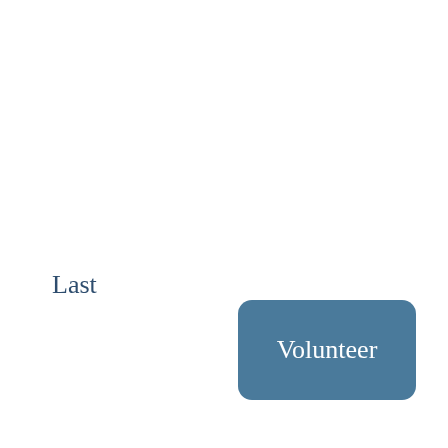Last
[Figure (other): A rounded rectangle button with blue background color (#4a7a9b) containing the white text 'Volunteer']